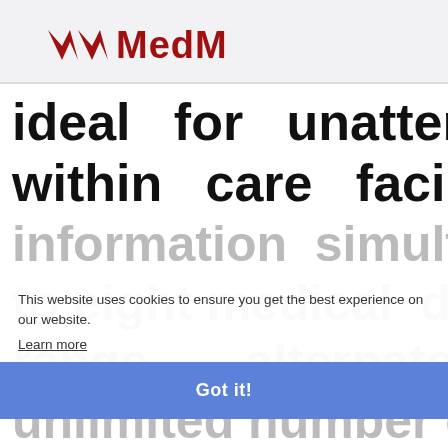[Figure (logo): MedM logo with red diamond/chevron icon and red bold text 'MedM']
ideal for unattended use within care facilities.
information simultaneously to eight medical devices range, alternately unlimited number of devices
This website uses cookies to ensure you get the best experience on our website.
Learn more
Got it!